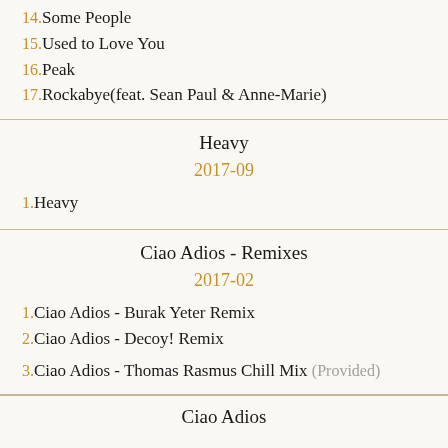14.Some People
15.Used to Love You
16.Peak
17.Rockabye(feat. Sean Paul & Anne-Marie)
Heavy
2017-09
1.Heavy
Ciao Adios - Remixes
2017-02
1.Ciao Adios - Burak Yeter Remix
2.Ciao Adios - Decoy! Remix
3.Ciao Adios - Thomas Rasmus Chill Mix (Provided)
Ciao Adios